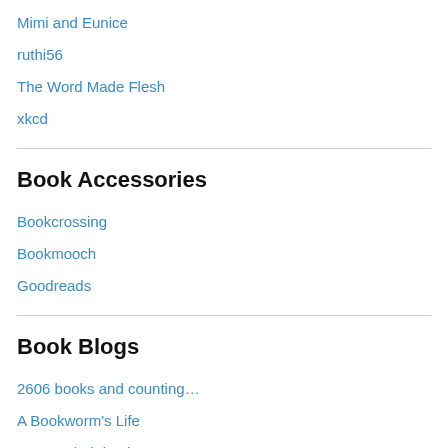Mimi and Eunice
ruthi56
The Word Made Flesh
xkcd
Book Accessories
Bookcrossing
Bookmooch
Goodreads
Book Blogs
2606 books and counting…
A Bookworm's Life
An Armchair by the Sea
And The Plot Thickens
As the Crowe Flies (and Reads)